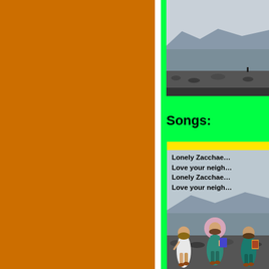[Figure (illustration): Large solid orange/burnt-orange rectangular block filling the left portion of the page]
[Figure (photo): Photograph of a lake or sea landscape with mountains in the background and rocky shoreline, in greyscale/muted tones]
Songs:
[Figure (illustration): Song card with yellow top bar on grey background showing text: 'Lonely Zacchae... Love your neigh... Lonely Zacchae... Love your neigh...' and below it illustrated figures of Jesus and disciples walking on a rocky shore]